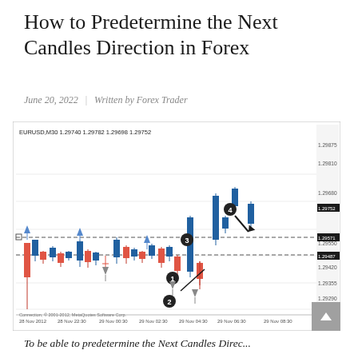How to Predetermine the Next Candles Direction in Forex
June 20, 2022  |  Written by Forex Trader
[Figure (other): EURUSD M30 candlestick chart showing price action from 28 Nov 2012 to 29 Nov 08:30. Price range approximately 1.29225 to 1.29875. Chart shows blue (bullish) and red/orange (bearish) candlesticks with numbered annotations 1-4 indicating trade setups. Two dashed horizontal lines at 1.29571 and 1.29487. Labels on right axis include 1.29875, 1.29810, 1.29680, 1.29619, 1.29571, 1.29550, 1.29487, 1.29420, 1.29355, 1.29290, 1.29225. Header: EURUSD,M30 1.29740 1.29782 1.29698 1.29752. Copyright Connection, 2001-2012, MetaQuotes Software Corp.]
To be able to predetermine the Next Candles Direction...